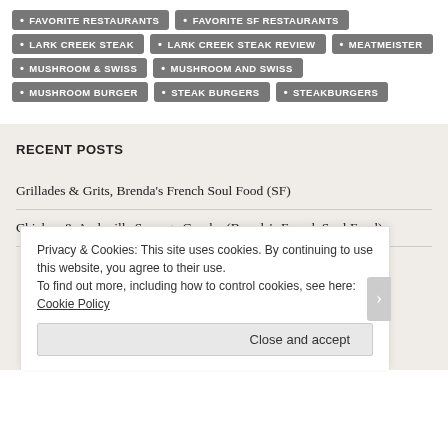FAVORITE RESTAURANTS
FAVORITE SF RESTAURANTS
LARK CREEK STEAK
LARK CREEK STEAK REVIEW
MEATMEISTER
MUSHROOM & SWISS
MUSHROOM AND SWISS
MUSHROOM BURGER
STEAK BURGERS
STEAKBURGERS
RECENT POSTS
Grillades & Grits, Brenda's French Soul Food (SF)
Chicken & Andouille Sausage Gumbo (Brenda's French Soul Food)
Privacy & Cookies: This site uses cookies. By continuing to use this website, you agree to their use.
To find out more, including how to control cookies, see here: Cookie Policy
Close and accept